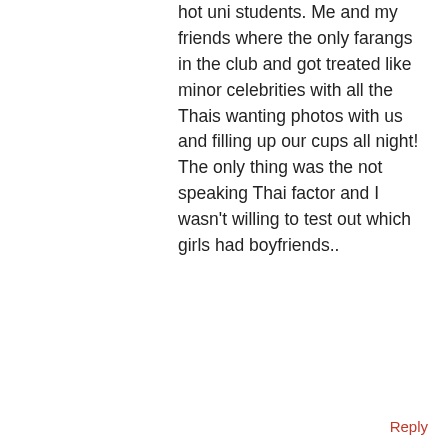hot uni students. Me and my friends where the only farangs in the club and got treated like minor celebrities with all the Thais wanting photos with us and filling up our cups all night! The only thing was the not speaking Thai factor and I wasn't willing to test out which girls had boyfriends..
Reply
s says:
Thursday, 10th May 2012 at 8:33 pm
Three years in Thailand and you can't speak Thai? I'm shocked.
Also you can hardly hate on clubs and bars in Thailand playing THAI music. Some of it isn't even that bad, Thai skai, reggae and rock is good, it's just the rubbish romantic and sad pop stuff that's terrible.